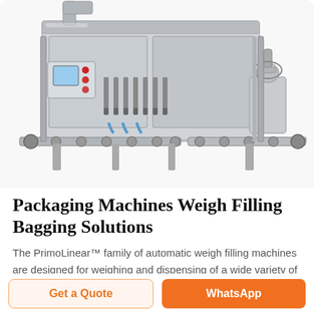[Figure (photo): Industrial packaging machine — a stainless steel automatic weigh filling machine with conveyor belt, filling nozzles, control panel with touchscreen and red buttons, and a capping unit on the right side, against a white background.]
Packaging Machines Weigh Filling Bagging Solutions
The PrimoLinear™ family of automatic weigh filling machines are designed for weighing and dispensing of a wide variety of products including
Get a Quote
WhatsApp